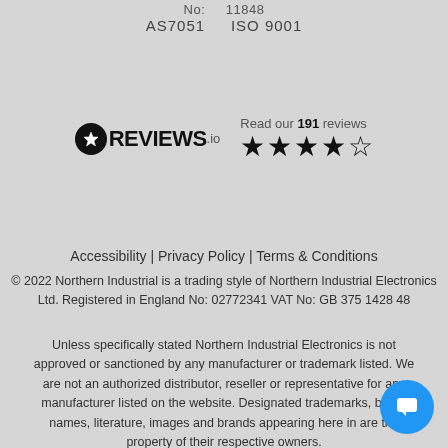No: 11848
AS7051   ISO 9001
[Figure (logo): REVIEWS.io logo with star rating: 4.5 stars and '191 reviews' text]
Accessibility | Privacy Policy | Terms & Conditions
© 2022 Northern Industrial is a trading style of Northern Industrial Electronics Ltd. Registered in England No: 02772341 VAT No: GB 375 1428 48
Unless specifically stated Northern Industrial Electronics is not approved or sanctioned by any manufacturer or trademark listed. We are not an authorized distributor, reseller or representative for any manufacturer listed on the website. Designated trademarks, brand names, literature, images and brands appearing here in are the property of their respective owners.
[Figure (illustration): Blue circular chat/message button in bottom right corner]